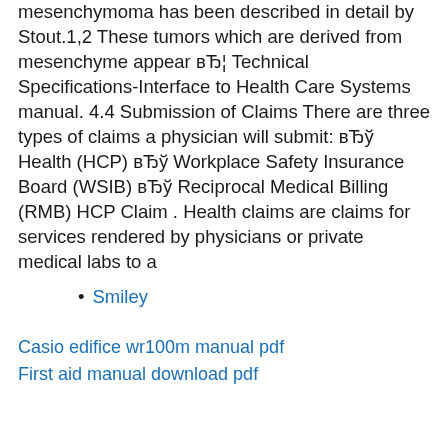mesenchymoma has been described in detail by Stout.1,2 These tumors which are derived from mesenchyme appear вЂ¦ Technical Specifications-Interface to Health Care Systems manual. 4.4 Submission of Claims There are three types of claims a physician will submit: вЂў Health (HCP) вЂў Workplace Safety Insurance Board (WSIB) вЂў Reciprocal Medical Billing (RMB) HCP Claim . Health claims are claims for services rendered by physicians or private medical labs to a
Smiley
Casio edifice wr100m manual pdf
First aid manual download pdf